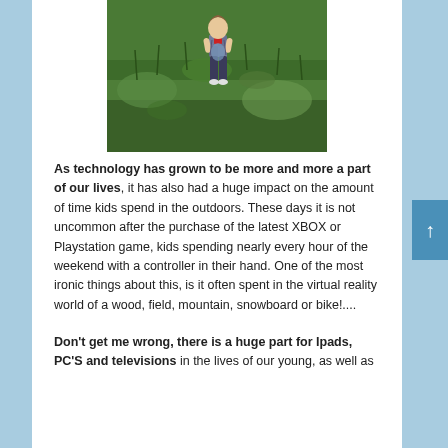[Figure (photo): A child walking through tall green grass in a field, wearing a patterned outfit with a red accent, viewed from behind/above.]
As technology has grown to be more and more a part of our lives, it has also had a huge impact on the amount of time kids spend in the outdoors. These days it is not uncommon after the purchase of the latest XBOX or Playstation game, kids spending nearly every hour of the weekend with a controller in their hand. One of the most ironic things about this, is it often spent in the virtual reality world of a wood, field, mountain, snowboard or bike!....
Don't get me wrong, there is a huge part for Ipads, PC'S and televisions in the lives of our young, as well as